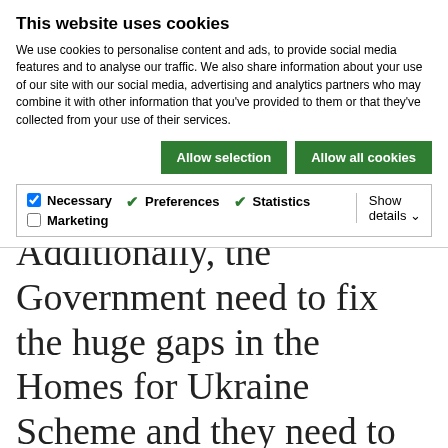This website uses cookies
We use cookies to personalise content and ads, to provide social media features and to analyse our traffic. We also share information about your use of our site with our social media, advertising and analytics partners who may combine it with other information that you've provided to them or that they've collected from your use of their services.
Allow selection | Allow all cookies
Necessary | Preferences | Statistics | Marketing | Show details
Additionally, the Government need to fix the huge gaps in the Homes for Ukraine Scheme and they need to play a role in matching refugees with sponsor families. It's been shocking to read that refugees have been offered sex in